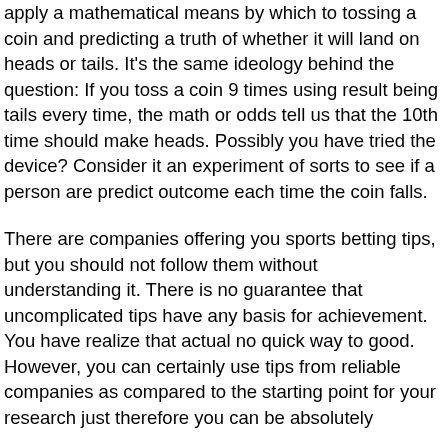apply a mathematical means by which to tossing a coin and predicting a truth of whether it will land on heads or tails. It's the same ideology behind the question: If you toss a coin 9 times using result being tails every time, the math or odds tell us that the 10th time should make heads. Possibly you have tried the device? Consider it an experiment of sorts to see if a person are predict outcome each time the coin falls.
There are companies offering you sports betting tips, but you should not follow them without understanding it. There is no guarantee that uncomplicated tips have any basis for achievement. You have realize that actual no quick way to good. However, you can certainly use tips from reliable companies as compared to the starting point for your research just therefore you can be absolutely